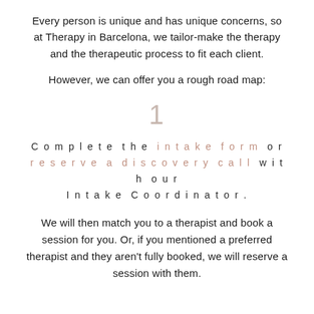Every person is unique and has unique concerns, so at Therapy in Barcelona, we tailor-make the therapy and the therapeutic process to fit each client.
However, we can offer you a rough road map:
1
Complete the intake form or reserve a discovery call with our Intake Coordinator.
We will then match you to a therapist and book a session for you. Or, if you mentioned a preferred therapist and they aren't fully booked, we will reserve a session with them.